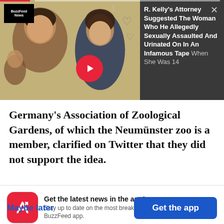[Figure (screenshot): BuzzFeed News app screenshot showing a news story photo with two women and a dark overlay panel with a headline about R. Kelly's attorney, plus a red play button]
Germany's Association of Zoological Gardens, of which the Neumünster zoo is a member, clarified on Twitter that they did not support the idea.
Get the latest news in the app! Stay up to date on the most breaking news, all from your BuzzFeed app.